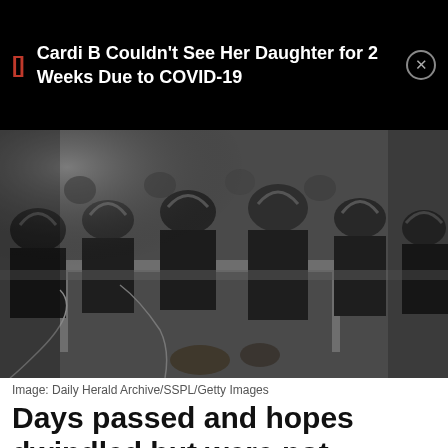Cardi B Couldn't See Her Daughter for 2 Weeks Due to COVID-19
[Figure (photo): Black and white historical photograph showing military personnel wearing headphones seated at desks, appearing to be operating radio equipment or taking notes. Multiple rows of uniformed men are visible.]
Image: Daily Herald Archive/SSPL/Getty Images
Days passed and hopes dwindled but were not